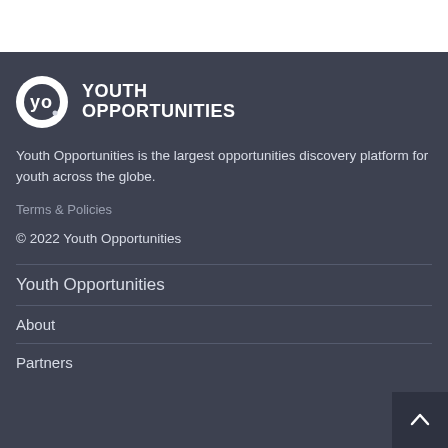[Figure (logo): Youth Opportunities logo — circular white badge with 'yo' monogram and bold text 'YOUTH OPPORTUNITIES']
Youth Opportunities is the largest opportunities discovery platform for youth across the globe.
Terms & Policies
© 2022 Youth Opportunities
Youth Opportunities
About
Partners